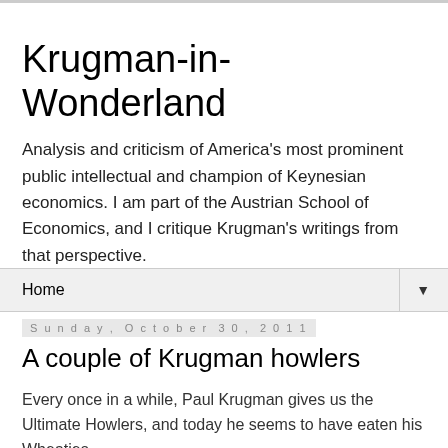Krugman-in-Wonderland
Analysis and criticism of America's most prominent public intellectual and champion of Keynesian economics. I am part of the Austrian School of Economics, and I critique Krugman's writings from that perspective.
Home ▼
Sunday, October 30, 2011
A couple of Krugman howlers
Every once in a while, Paul Krugman gives us the Ultimate Howlers, and today he seems to have eaten his Wheaties.
First, on Social Security, he says this: